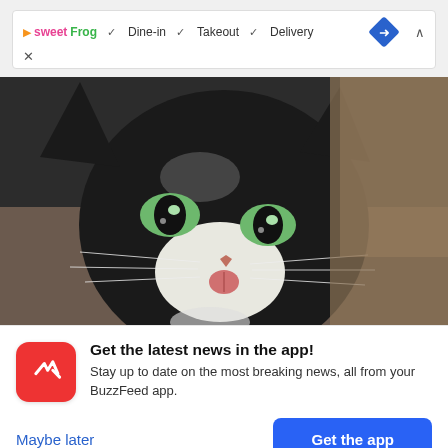[Figure (screenshot): Ad banner showing sweetFrog logo with checkmarks for Dine-in, Takeout, Delivery, a blue navigation diamond icon, a caret-up arrow, and an X close button]
[Figure (photo): Close-up photo of a black and white cat with bright green eyes sticking out its pink tongue, looking at the camera from under a bag]
Get the latest news in the app! Stay up to date on the most breaking news, all from your BuzzFeed app.
Maybe later
Get the app